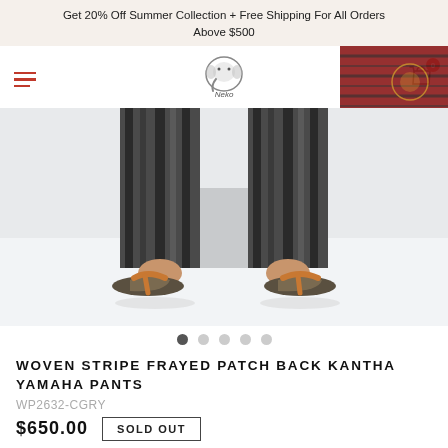Get 20% Off Summer Collection + Free Shipping For All Orders Above $500
[Figure (screenshot): E-commerce website navigation bar with hamburger menu, Neko brand logo (elephant illustration), shopping cart icon with badge showing 0, and a partial side image of red/black textile]
[Figure (photo): Product photo showing lower legs of a model wearing dark striped wide-leg pants and brown/olive leather flat sandals against a light grey background]
WOVEN STRIPE FRAYED PATCH BACK KANTHA YAMAHA PANTS
WP2632-CGRY
$650.00  SOLD OUT